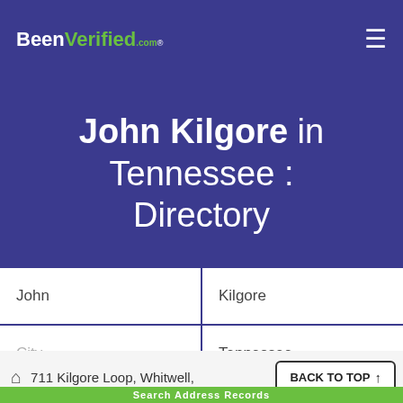BeenVerified.com
John Kilgore in Tennessee : Directory
John | Kilgore
City | Tennessee
SEARCH
711 Kilgore Loop, Whitwell,
BACK TO TOP ↑
Search Address Records